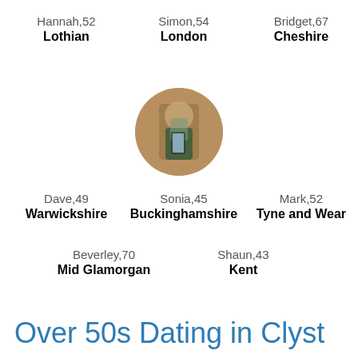Hannah,52
Lothian
Simon,54
London
Bridget,67
Cheshire
[Figure (photo): Circular profile photo of a person taking a mirror selfie]
Sonia,45
Buckinghamshire
Dave,49
Warwickshire
Mark,52
Tyne and Wear
Beverley,70
Mid Glamorgan
Shaun,43
Kent
Over 50s Dating in Clyst